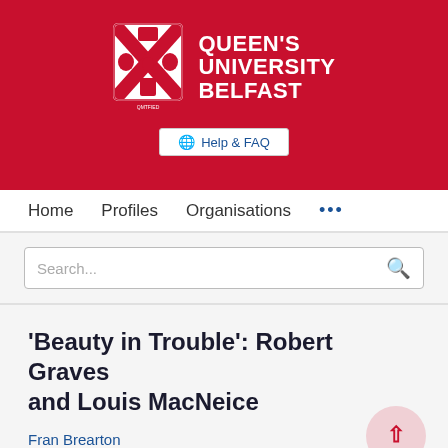[Figure (logo): Queen's University Belfast logo with red crest and white text on red background]
Help & FAQ
Home   Profiles   Organisations   ...
Search...
'Beauty in Trouble': Robert Graves and Louis MacNeice
Fran Brearton
English